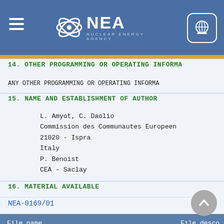NEA NUCLEAR ENERGY AGENCY
14. OTHER PROGRAMMING OR OPERATING INFORMA
ANY OTHER PROGRAMMING OR OPERATING INFORMA
15. NAME AND ESTABLISHMENT OF AUTHOR
L. Amyot, C. Daolio
Commission des Communautes Europeen
21020 - Ispra
Italy
P. Benoist
CEA - Saclay
16. MATERIAL AVAILABLE
NEA-0169/01
| File name | File desco |
| --- | --- |